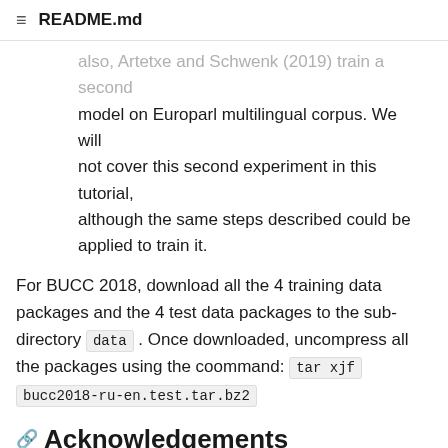README.md
also, Artetxe and Schwenk (2019) train a second model on Europarl multilingual corpus. We will not cover this second experiment in this tutorial, although the same steps described could be applied to train it.
For BUCC 2018, download all the 4 training data packages and the 4 test data packages to the sub-directory data . Once downloaded, uncompress all the packages using the coommand: tar xjf bucc2018-ru-en.test.tar.bz2
Acknowledgements
Developed by Universitat d'Alacant as part of its contribution to the GoURMET project, which received funding from the European Union's Horizon 2020